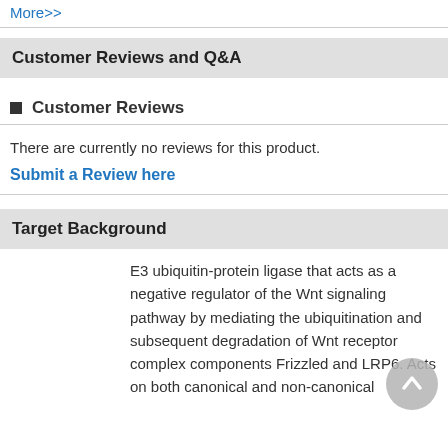More>>
Customer Reviews and Q&A
■ Customer Reviews
There are currently no reviews for this product.
Submit a Review here
Target Background
E3 ubiquitin-protein ligase that acts as a negative regulator of the Wnt signaling pathway by mediating the ubiquitination and subsequent degradation of Wnt receptor complex components Frizzled and LRP6. Acts on both canonical and non-canonical